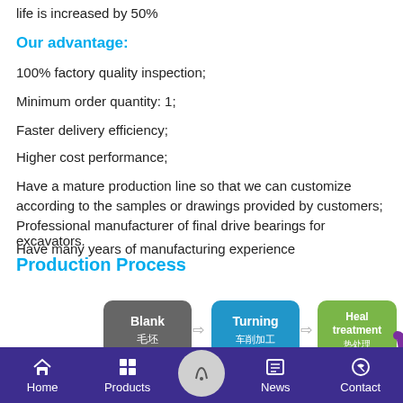life is increased by 50%
Our advantage:
100% factory quality inspection;
Minimum order quantity: 1;
Faster delivery efficiency;
Higher cost performance;
Have a mature production line so that we can customize according to the samples or drawings provided by customers;
Professional manufacturer of final drive bearings for excavators.
Have many years of manufacturing experience
Production Process
[Figure (infographic): Production process flow diagram showing steps: Blank (毛坯) → Turning (车削加工) → Heal treatment (热处理) → [arrow curve] → Check → Assembled → [more steps]]
Home | Products | [center button] | News | Contact